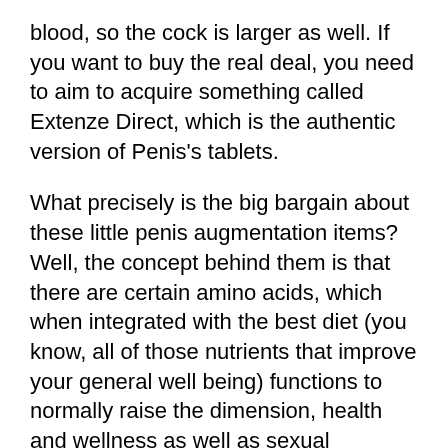blood, so the cock is larger as well. If you want to buy the real deal, you need to aim to acquire something called Extenze Direct, which is the authentic version of Penis's tablets.
What precisely is the big bargain about these little penis augmentation items? Well, the concept behind them is that there are certain amino acids, which when integrated with the best diet (you know, all of those nutrients that improve your general well being) functions to normally raise the dimension, health and wellness as well as sexual efficiency. It is assumed that a penis made larger by Extenze, will have greater nerve endings and be able to feel sex-related enhancement results, just like when you